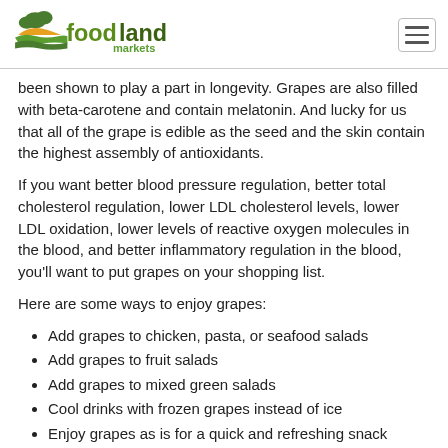foodland markets
been shown to play a part in longevity. Grapes are also filled with beta-carotene and contain melatonin. And lucky for us that all of the grape is edible as the seed and the skin contain the highest assembly of antioxidants.
If you want better blood pressure regulation, better total cholesterol regulation, lower LDL cholesterol levels, lower LDL oxidation, lower levels of reactive oxygen molecules in the blood, and better inflammatory regulation in the blood, you'll want to put grapes on your shopping list.
Here are some ways to enjoy grapes:
Add grapes to chicken, pasta, or seafood salads
Add grapes to fruit salads
Add grapes to mixed green salads
Cool drinks with frozen grapes instead of ice
Enjoy grapes as is for a quick and refreshing snack